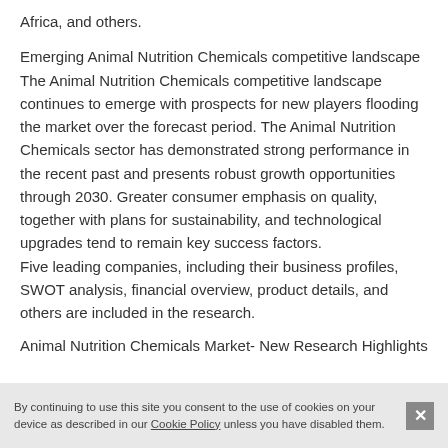Africa, and others.
Emerging Animal Nutrition Chemicals competitive landscape The Animal Nutrition Chemicals competitive landscape continues to emerge with prospects for new players flooding the market over the forecast period. The Animal Nutrition Chemicals sector has demonstrated strong performance in the recent past and presents robust growth opportunities through 2030. Greater consumer emphasis on quality, together with plans for sustainability, and technological upgrades tend to remain key success factors. Five leading companies, including their business profiles, SWOT analysis, financial overview, product details, and others are included in the research.
Animal Nutrition Chemicals Market- New Research Highlights
By continuing to use this site you consent to the use of cookies on your device as described in our Cookie Policy unless you have disabled them.